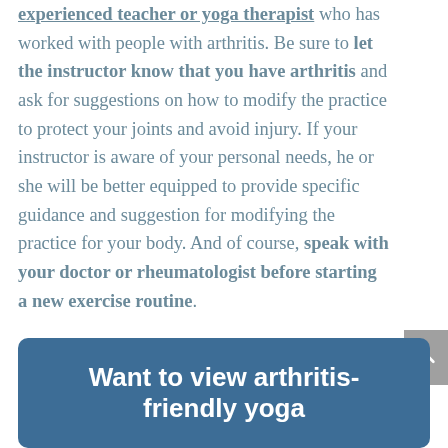experienced teacher or yoga therapist who has worked with people with arthritis. Be sure to let the instructor know that you have arthritis and ask for suggestions on how to modify the practice to protect your joints and avoid injury. If your instructor is aware of your personal needs, he or she will be better equipped to provide specific guidance and suggestion for modifying the practice for your body. And of course, speak with your doctor or rheumatologist before starting a new exercise routine.
Want to view arthritis-friendly yoga